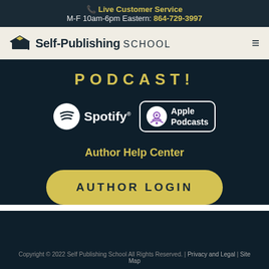📞 Live Customer Service
M-F 10am-6pm Eastern: 864-729-3997
[Figure (logo): Self-Publishing School logo with graduation cap and navigation hamburger menu]
PODCAST!
[Figure (logo): Spotify and Apple Podcasts badge logos]
Author Help Center
AUTHOR LOGIN
Copyright © 2022 Self Publishing School All Rights Reserved. | Privacy and Legal | Site Map